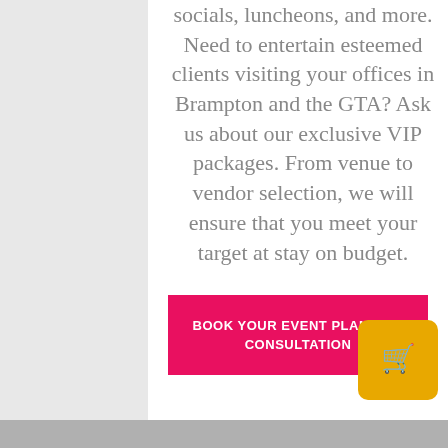socials, luncheons, and more. Need to entertain esteemed clients visiting your offices in Brampton and the GTA? Ask us about our exclusive VIP packages. From venue to vendor selection, we will ensure that you meet your target at stay on budget.
BOOK YOUR EVENT PLANNING CONSULTATION
[Figure (illustration): Yellow shopping cart icon button in bottom right corner]